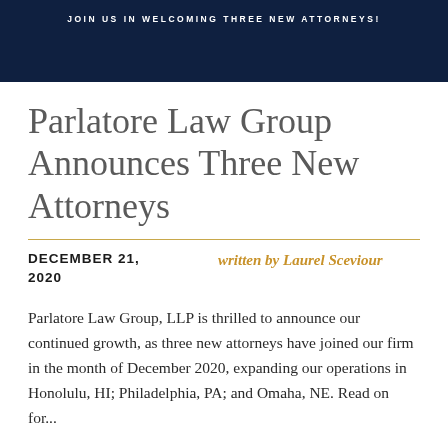JOIN US IN WELCOMING THREE NEW ATTORNEYS!
Parlatore Law Group Announces Three New Attorneys
DECEMBER 21, 2020
written by Laurel Sceviour
Parlatore Law Group, LLP is thrilled to announce our continued growth, as three new attorneys have joined our firm in the month of December 2020, expanding our operations in Honolulu, HI; Philadelphia, PA; and Omaha, NE. Read on for...